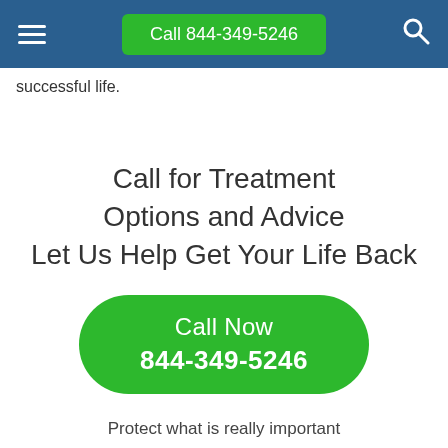Call 844-349-5246
successful life.
Call for Treatment Options and Advice Let Us Help Get Your Life Back
Call Now 844-349-5246
Protect what is really important to your life and your family today